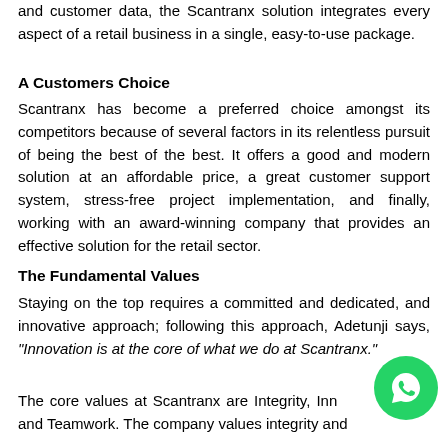and customer data, the Scantranx solution integrates every aspect of a retail business in a single, easy-to-use package.
A Customers Choice
Scantranx has become a preferred choice amongst its competitors because of several factors in its relentless pursuit of being the best of the best. It offers a good and modern solution at an affordable price, a great customer support system, stress-free project implementation, and finally, working with an award-winning company that provides an effective solution for the retail sector.
The Fundamental Values
Staying on the top requires a committed and dedicated, and innovative approach; following this approach, Adetunji says, "Innovation is at the core of what we do at Scantranx."
The core values at Scantranx are Integrity, Innovation, Fun, and Teamwork. The company values integrity and